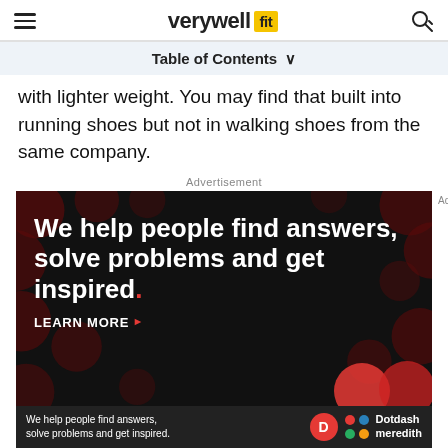verywellfit
Table of Contents
with lighter weight. You may find that built into running shoes but not in walking shoes from the same company.
Advertisement
[Figure (illustration): Advertisement for Dotdash Meredith with text: We help people find answers, solve problems and get inspired. LEARN MORE. Black background with red dot pattern. Bottom bar shows Dotdash Meredith branding.]